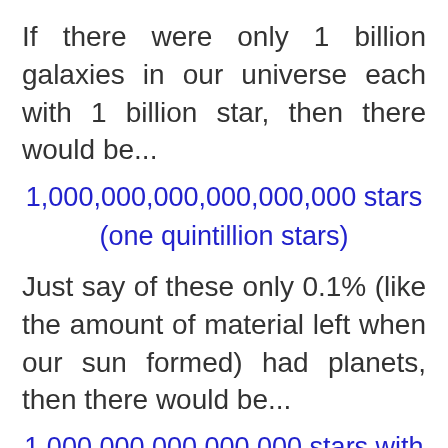If there were only 1 billion galaxies in our universe each with 1 billion star, then there would be...
1,000,000,000,000,000,000 stars
(one quintillion stars)
Just say of these only 0.1% (like the amount of material left when our sun formed) had planets, then there would be...
1,000,000,000,000,000 stars with